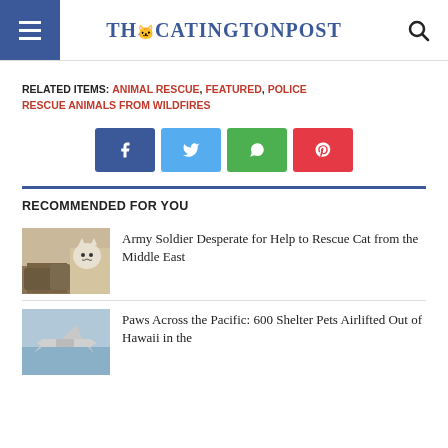The Catington Post
RELATED ITEMS: ANIMAL RESCUE, FEATURED, POLICE RESCUE ANIMALS FROM WILDFIRES
[Figure (other): Social share buttons: Facebook, Twitter, WhatsApp, Pinterest]
RECOMMENDED FOR YOU
[Figure (photo): Military boots with a cat sitting behind them]
Army Soldier Desperate for Help to Rescue Cat from the Middle East
[Figure (photo): Airplane flying over water/sky — shelter pets airlifted from Hawaii]
Paws Across the Pacific: 600 Shelter Pets Airlifted Out of Hawaii in the